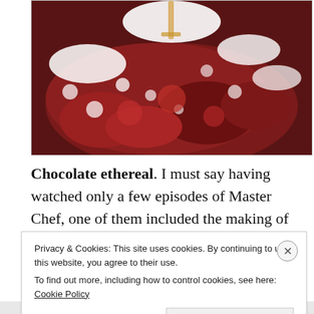[Figure (photo): Close-up photo of chocolate ethereal dessert with red berry crumble and white powdered sugar/cream on a plate]
Chocolate ethereal. I must say having watched only a few episodes of Master Chef, one of them included the making of the chocolate ethereal; I had very high hopes for this dish but it fell flat in my mouth. It just tasted
Privacy & Cookies: This site uses cookies. By continuing to use this website, you agree to their use.
To find out more, including how to control cookies, see here: Cookie Policy
Close and accept